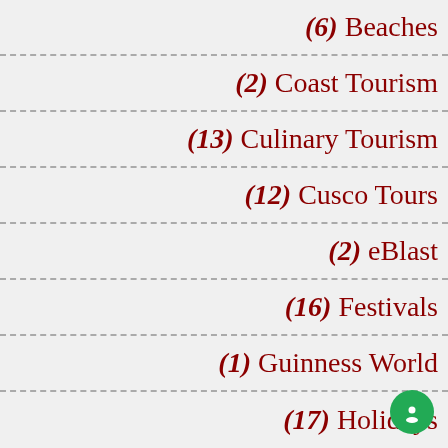(6) Beaches
(2) Coast Tourism
(13) Culinary Tourism
(12) Cusco Tours
(2) eBlast
(16) Festivals
(1) Guinness World
(17) Holidays